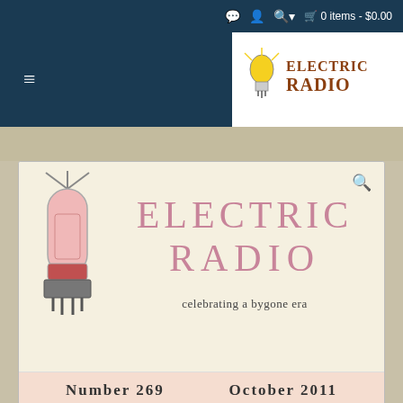0 items - $0.00
[Figure (logo): Electric Radio magazine logo with vacuum tube bulb icon and stylized text 'ELECTRIC RADIO' in brown on white background]
[Figure (illustration): Electric Radio magazine cover featuring a vacuum tube illustration and large pink text 'ELECTRIC RADIO' with tagline 'celebrating a bygone era']
Number 269    October 2011